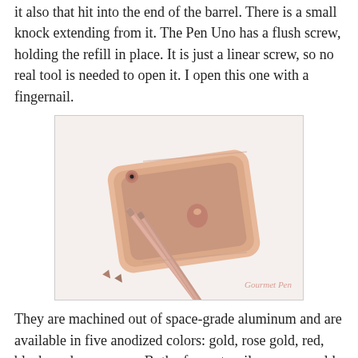it also that hit into the end of the barrel. There is a small knock extending from it. The Pen Uno has a flush screw, holding the refill in place. It is just a linear screw, so no real tool is needed to open it. I open this one with a fingernail.
[Figure (photo): Rose gold iPhone lying flat with two thin rose gold pens/pencils resting diagonally across it on a white background. Watermark reads 'Gourmet Pen' in pink italic script.]
They are machined out of space-grade aluminum and are available in five anodized colors: gold, rose gold, red, black, and space grey. Both of my utensils are rose gold. Yep, just like my phone. Laugh if you will, but I like that it matches. The rose gold looks really nice, and when new, the body and edges are in crisp condition. The edges are pretty sharp, so they take the most wear and tear, and the color starts to get dinged off. It would be nice if these were a little sturdier...